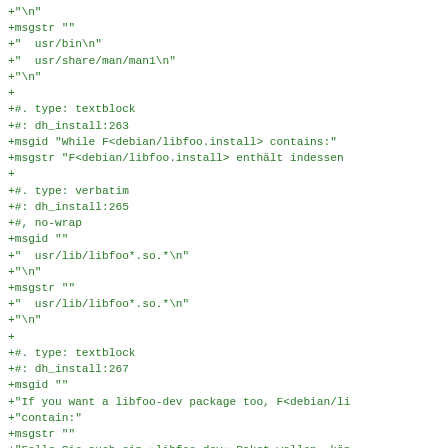+"\n"
+msgstr ""
+"  usr/bin\n"
+"  usr/share/man/man1\n"
+"\n"
+
+#. type: textblock
+#: dh_install:263
+msgid "While F<debian/libfoo.install> contains:"
+msgstr "F<debian/libfoo.install> enthält indessen
+
+#. type: verbatim
+#: dh_install:265
+#, no-wrap
+msgid ""
+"  usr/lib/libfoo*.so.*\n"
+"\n"
+msgstr ""
+"  usr/lib/libfoo*.so.*\n"
+"\n"
+
+#. type: textblock
+#: dh_install:267
+msgid ""
+"If you want a libfoo-dev package too, F<debian/li
+"contain:"
+msgstr ""
+"Falls Sie auch ein »libfoo-dev«-Paket wollen, kön
+"install> Folgendes enthalten:"
+